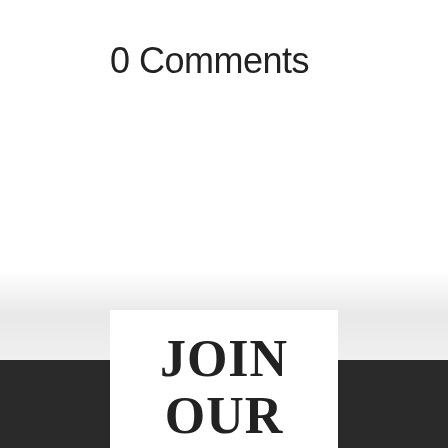0 Comments
JOIN OUR NEWSLETTER
Curabitur non nulla sit amet nisl tempus convalli quis ac lectus.